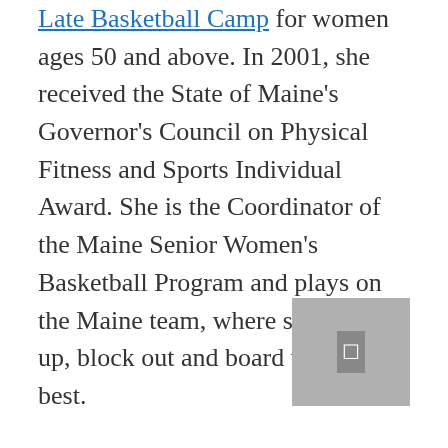Late Basketball Camp for women ages 50 and above. In 2001, she received the State of Maine's Governor's Council on Physical Fitness and Sports Individual Award. She is the Coordinator of the Maine Senior Women's Basketball Program and plays on the Maine team, where she can post up, block out and board with the best.
In Dallas, Kay Seamayer is founder and president of Basketball and Fitness for Senior Women in the Dallas area where she plays on the 65+ Texas All Stars team, and serves as head coach. They also promote senior women's basketball through their "Granny Globetrotter" halftime show with exhibition play at WNBA, NBA, colleges, universities, and special events including a special promotion with the Harlem